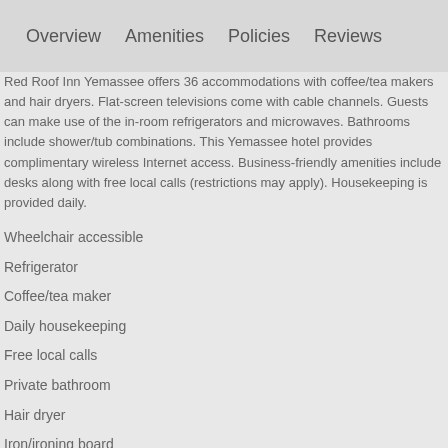Overview   Amenities   Policies   Reviews
Red Roof Inn Yemassee offers 36 accommodations with coffee/tea makers and hair dryers. Flat-screen televisions come with cable channels. Guests can make use of the in-room refrigerators and microwaves. Bathrooms include shower/tub combinations. This Yemassee hotel provides complimentary wireless Internet access. Business-friendly amenities include desks along with free local calls (restrictions may apply). Housekeeping is provided daily.
Wheelchair accessible
Refrigerator
Coffee/tea maker
Daily housekeeping
Free local calls
Private bathroom
Hair dryer
Iron/ironing board
Desk
In-room climate control (air conditioning)
High-speed internet access